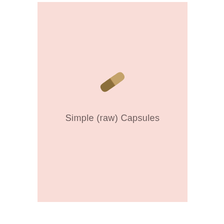[Figure (illustration): A capsule/pill icon rendered in golden-brown color on a light pink background]
Simple (raw) Capsules